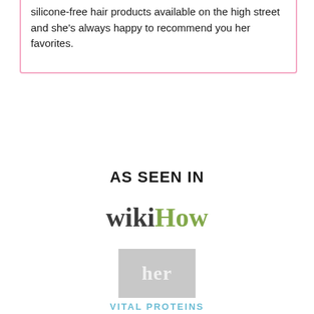silicone-free hair products available on the high street and she's always happy to recommend you her favorites.
AS SEEN IN
[Figure (logo): wikiHow logo with 'wiki' in dark gray bold serif and 'How' in green bold serif]
[Figure (logo): her logo — white lowercase text on gray rectangle background]
VITAL PROTEINS